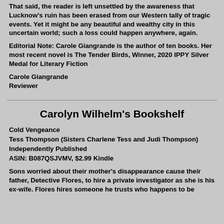That said, the reader is left unsettled by the awareness that Lucknow's ruin has been erased from our Western tally of tragic events. Yet it might be any beautiful and wealthy city in this uncertain world; such a loss could happen anywhere, again.
Editorial Note: Carole Giangrande is the author of ten books. Her most recent novel is The Tender Birds, Winner, 2020 IPPY Silver Medal for Literary Fiction
Carole Giangrande
Reviewer
Carolyn Wilhelm's Bookshelf
Cold Vengeance
Tess Thompson (Sisters Charlene Tess and Judi Thompson)
Independently Published
ASIN: B087QSJVMV, $2.99 Kindle
Sons worried about their mother's disappearance cause their father, Detective Flores, to hire a private investigator as she is his ex-wife. Flores hires someone he trusts who happens to be